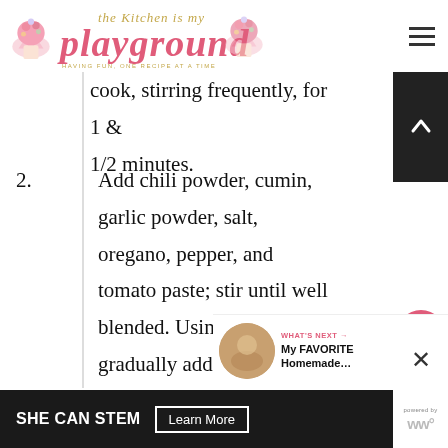the Kitchen is my playground
1. Melt butter in a saucepan over ... flour and cook, stirring frequently, for 1 & 1/2 minutes.
2. Add chili powder, cumin, garlic powder, salt, oregano, pepper, and tomato paste; stir until well blended. Using a whisk, gradually add chicken broth, whisking constantly. Stir in apple cider vinegar.
3. Heat to boiling. Reduce heat and
[Figure (screenshot): What's Next promotional thumbnail with circular image and text 'My FAVORITE Homemade...']
SHE CAN STEM — Learn More (advertisement banner)